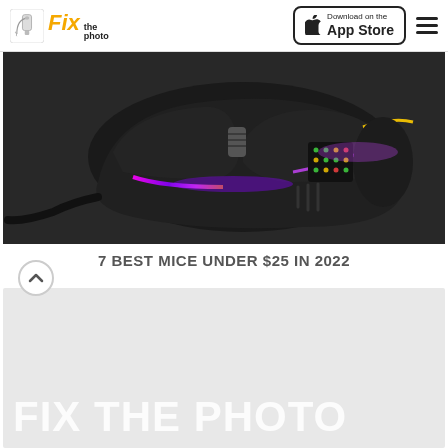Fix the photo — Download on the App Store
[Figure (photo): Close-up photo of a black RGB gaming mouse with colorful LED lighting (purple, yellow, green) on a dark background, with a cable visible]
7 BEST MICE UNDER $25 IN 2022
[Figure (photo): Light gray placeholder image with 'FIX THE PHOTO' watermark text in large white bold letters at the bottom left]